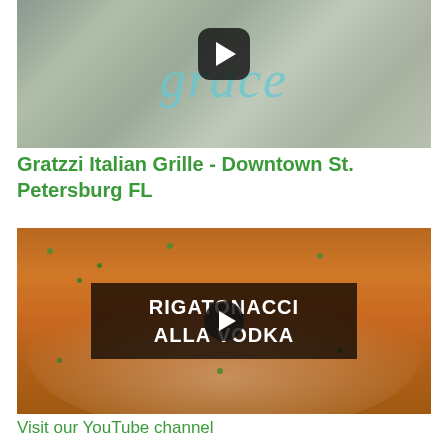[Figure (screenshot): Video thumbnail showing food/restaurant imagery with the word 'grace' in teal italic script and a YouTube play button overlay]
Gratzzi Italian Grille - Downtown St. Petersburg FL
[Figure (screenshot): Video thumbnail showing a pasta dish (Rigatonacci Alla Vodka) with orange tomato cream sauce and green peas, with a dark overlay text box reading 'RIGATONACCI ALLA VODKA' and a YouTube play button]
Visit our YouTube channel